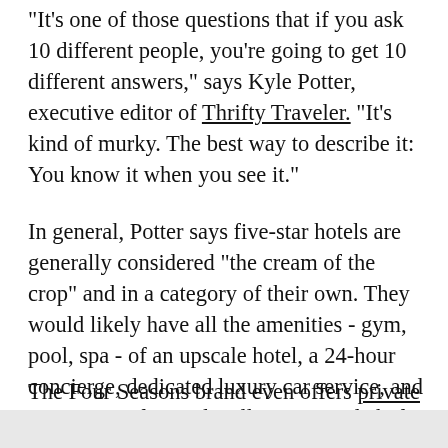"It's one of those questions that if you ask 10 different people, you're going to get 10 different answers," says Kyle Potter, executive editor of Thrifty Traveler. "It's kind of murky. The best way to describe it: You know it when you see it."
In general, Potter says five-star hotels are generally considered "the cream of the crop" and in a category of their own. They would likely have all the amenities - gym, pool, spa - of an upscale hotel, a 24-hour concierge, dedicated luxury car service, and a restaurant from a locally-renowned chef.
The Four Seasons brand even offers private jet experiences.